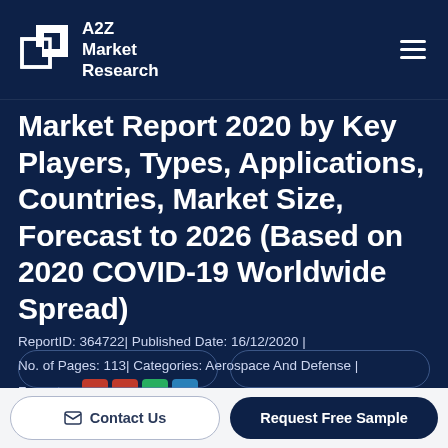A2Z Market Research
Market Report 2020 by Key Players, Types, Applications, Countries, Market Size, Forecast to 2026 (Based on 2020 COVID-19 Worldwide Spread)
ReportID: 364722| Published Date: 16/12/2020 | No. of Pages: 113| Categories: Aerospace And Defense | Formate :
Contact Us   Request Free Sample